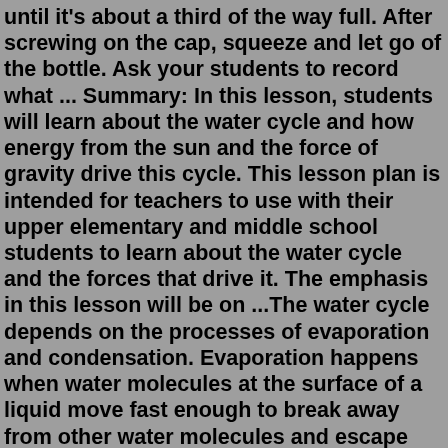until it's about a third of the way full. After screwing on the cap, squeeze and let go of the bottle. Ask your students to record what ... Summary: In this lesson, students will learn about the water cycle and how energy from the sun and the force of gravity drive this cycle. This lesson plan is intended for teachers to use with their upper elementary and middle school students to learn about the water cycle and the forces that drive it. The emphasis in this lesson will be on ...The water cycle depends on the processes of evaporation and condensation. Evaporation happens when water molecules at the surface of a liquid move fast enough to break away from other water molecules and escape from the liquid into the air. Condensation happens when water molecules in the air slow down enough to join together to form liquid ... C Over 70% of the total surface of our planet is covered with water. D About 96.5% of the world's water is found in the oceans. 4. What is the water cycle? A the movement of water in rivers and oceans B the movement of water on, above, and below the